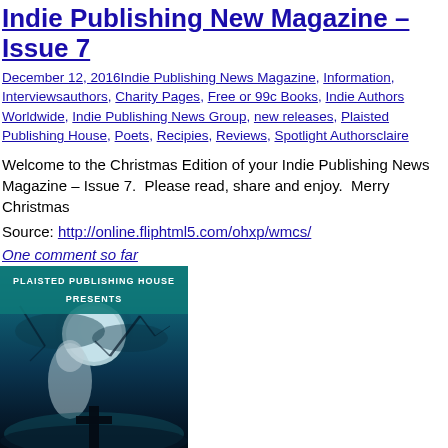Indie Publishing New Magazine – Issue 7
December 12, 2016Indie Publishing News Magazine, Information, Interviewsauthors, Charity Pages, Free or 99c Books, Indie Authors Worldwide, Indie Publishing News Group, new releases, Plaisted Publishing House, Poets, Recipies, Reviews, Spotlight Authorsclaire
Welcome to the Christmas Edition of your Indie Publishing News Magazine – Issue 7.  Please read, share and enjoy.  Merry Christmas
Source: http://online.fliphtml5.com/ohxp/wmcs/
One comment so far
[Figure (photo): Book cover image from Plaisted Publishing House Presents – dark gothic scene with a hooded figure in front of a full moon, a cross in the foreground, teal/dark blue color palette]